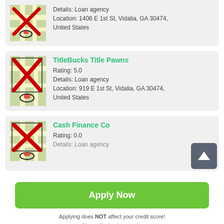[Figure (screenshot): Map thumbnail with red X overlay for first listing (partial, top of page)]
Details: Loan agency
Location: 1406 E 1st St, Vidalia, GA 30474, United States
[Figure (screenshot): Map thumbnail with red X overlay for TitleBucks Title Pawns]
TitleBucks Title Pawns
Rating: 5.0
Details: Loan agency
Location: 919 E 1st St, Vidalia, GA 30474, United States
[Figure (screenshot): Map thumbnail with red X overlay for Cash Finance Co]
Cash Finance Co
Rating: 0.0
Details: Loan agency
Apply Now
Applying does NOT affect your credit score! No credit check to apply.